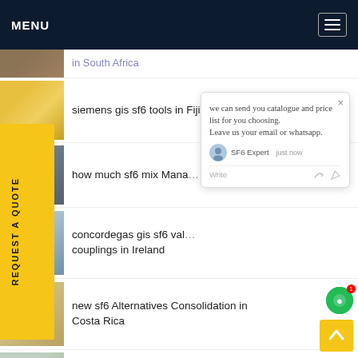MENU
in South Africa
siemens gis sf6 tools in Fiji
how much sf6 mix Mana... ogo
concordegas gis sf6 val... couplings in Ireland
new sf6 Alternatives Consolidation in Costa Rica
advantages of sf6 n2 Servicing in Libya
Rapidex sf6 mixture control in Pakistan
[Figure (screenshot): Chat popup overlay with message: we can send you catalogue and price list for you choosing. Leave us your email or whatsapp. SF6 Expert just now. Write input row.]